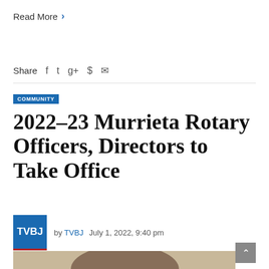Read More >
Share  f  t  g+  ⊕  ✉
COMMUNITY
2022-23 Murrieta Rotary Officers, Directors to Take Office
by TVBJ   July 1, 2022, 9:40 pm
[Figure (photo): Partial photo of a person, bottom portion of page]